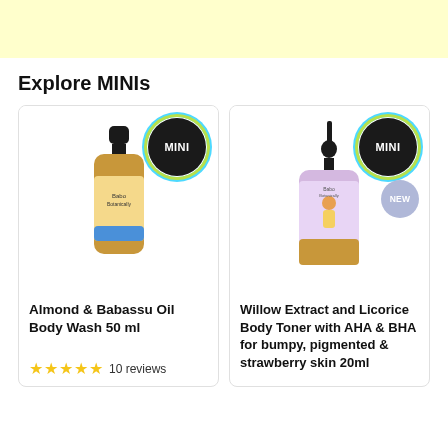[Figure (other): Light yellow banner at top of page]
Explore MINIs
[Figure (photo): Product card for Almond & Babassu Oil Body Wash 50 ml with MINI badge and bottle image]
[Figure (photo): Product card for Willow Extract and Licorice Body Toner with AHA & BHA for bumpy, pigmented & strawberry skin 20ml with MINI and NEW badges and dropper bottle image]